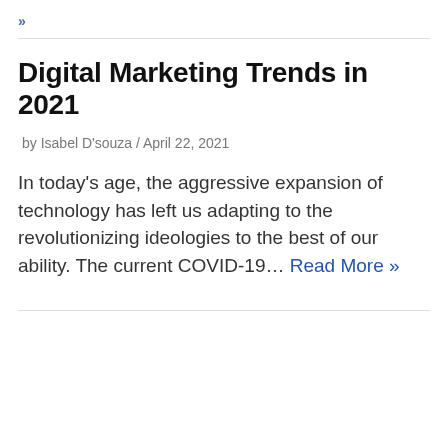»
Digital Marketing Trends in 2021
by Isabel D'souza / April 22, 2021
In today's age, the aggressive expansion of technology has left us adapting to the revolutionizing ideologies to the best of our ability. The current COVID-19… Read More »